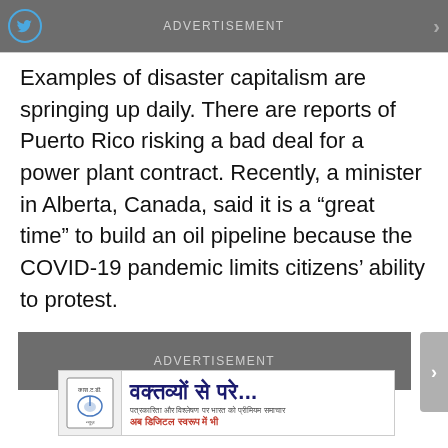ADVERTISEMENT
Examples of disaster capitalism are springing up daily. There are reports of Puerto Rico risking a bad deal for a power plant contract. Recently, a minister in Alberta, Canada, said it is a “great time” to build an oil pipeline because the COVID-19 pandemic limits citizens’ ability to protest.
ADVERTISEMENT
[Figure (infographic): Hindi language advertisement banner with logo on left and Hindi text: वक्तव्यों से परे... with smaller text below]